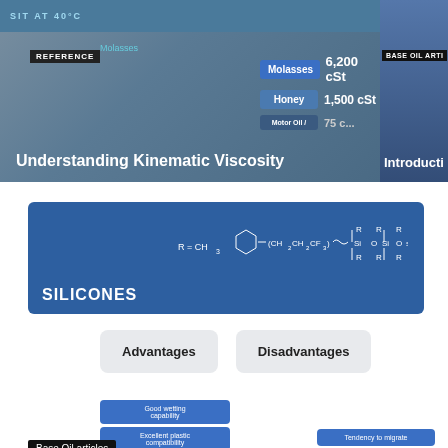[Figure (infographic): Top banner showing kinematic viscosity reference card with molasses 6,200 cSt and honey 1,500 cSt values on blue background]
REFERENCE
Understanding Kinematic Viscosity
BASE OIL ARTI
Introducti
[Figure (engineering-diagram): Silicones banner with chemical formula showing R=CH3 and polymer chain structure Si-O repeating units]
SILICONES
Advantages
Disadvantages
Good wetting capability
Excellent plastic compatibility
Excellent oxidative
Tendency to migrate
Base Oil articles
Introduction to Silicone